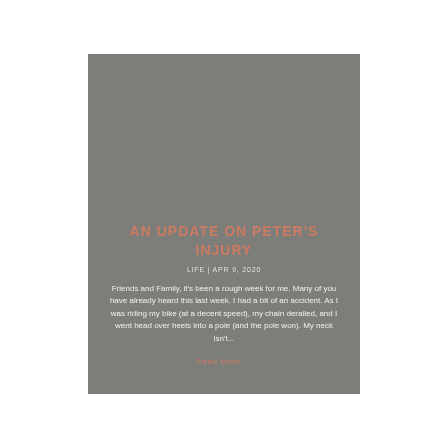AN UPDATE ON PETER'S INJURY
LIFE | APR 9, 2020
Friends and Family, it's been a rough week for me. Many of you have already heard this last week. I had a bit of an accident. As I was riding my bike (at a decent speed), my chain derailed, and I went head over heels into a pole (and the pole won). My neck isn't...
Read More →